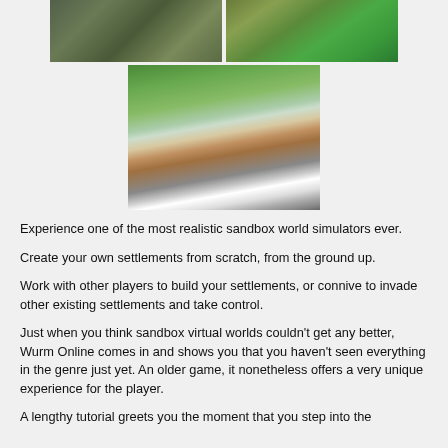[Figure (photo): Two game screenshots side by side showing top-down/aerial views of a settlement or farm area in Wurm Online]
[Figure (photo): Game screenshot showing a player riding a cow through a farm field in Wurm Online]
Experience one of the most realistic sandbox world simulators ever.
Create your own settlements from scratch, from the ground up.
Work with other players to build your settlements, or connive to invade other existing settlements and take control.
Just when you think sandbox virtual worlds couldn't get any better, Wurm Online comes in and shows you that you haven't seen everything in the genre just yet. An older game, it nonetheless offers a very unique experience for the player.
A lengthy tutorial greets you the moment that you step into the